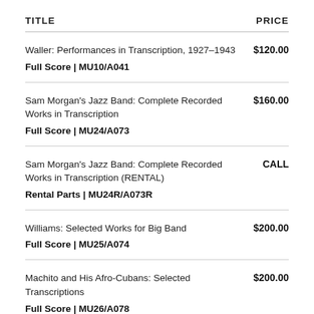| TITLE | PRICE |
| --- | --- |
| Waller: Performances in Transcription, 1927–1943
Full Score | MU10/A041 | $120.00 |
| Sam Morgan's Jazz Band: Complete Recorded Works in Transcription
Full Score | MU24/A073 | $160.00 |
| Sam Morgan's Jazz Band: Complete Recorded Works in Transcription (RENTAL)
Rental Parts | MU24R/A073R | CALL |
| Williams: Selected Works for Big Band
Full Score | MU25/A074 | $200.00 |
| Machito and His Afro-Cubans: Selected Transcriptions
Full Score | MU26/A078 | $200.00 |